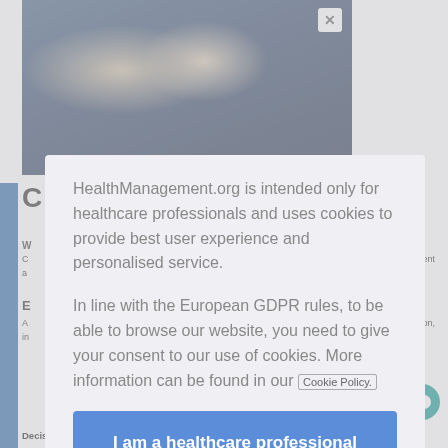[Figure (photo): Photo of people at a healthcare conference/expo, wearing face masks, in business attire, standing near exhibition booths with a 'EC EUROPE' sign visible in background.]
HealthManagement.org is intended only for healthcare professionals and uses cookies to provide best user experience and personalised service.
In line with the European GDPR rules, to be able to browse our website, you need to give your consent to our use of cookies. More information can be found in our Cookie Policy.
I am a healthcare professional and consent to the use of cookies
Decision Support Community Supported by Siemens Healthineers